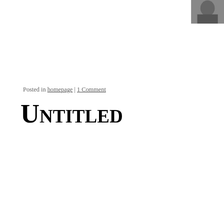[Figure (photo): A partial black and white photo of a person in the top-right corner]
Posted in homepage | 1 Comment
Untitled
[Figure (illustration): A black stylized phoenix/bird logo on the right sidebar]
Rob
Posted in homepage | Tagged Robert Sheppard | Leave a comment
Pirate day.